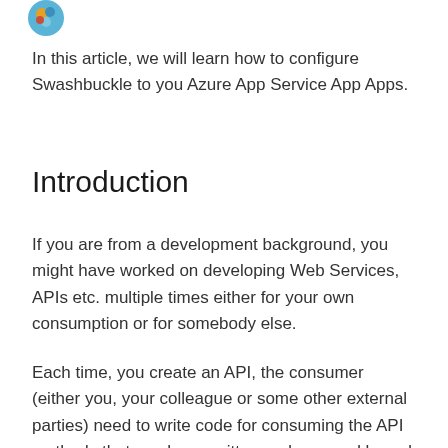[Figure (logo): Colorful circular logo/avatar icon at top left]
In this article, we will learn how to configure Swashbuckle to you Azure App Service App Apps.
Introduction
If you are from a development background, you might have worked on developing Web Services, APIs etc. multiple times either for your own consumption or for somebody else.
Each time, you create an API, the consumer (either you, your colleague or some other external parties) need to write code for consuming the API methods that you have written and exposed based on the API Contracts and so for...